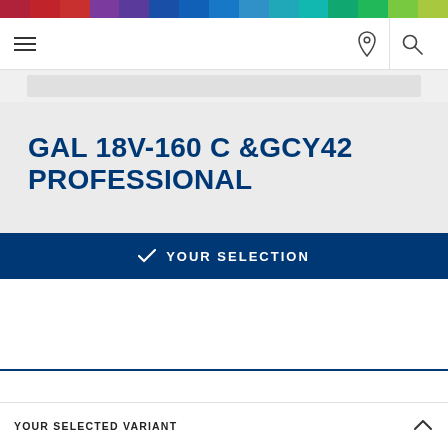[Figure (other): Multicolor horizontal stripe bar at top of page]
Navigation bar with hamburger menu, location pin icon, and search icon
[Figure (other): Gray image placeholder strip]
GAL 18V-160 C &GCY42 PROFESSIONAL
YOUR SELECTION
YOUR SELECTED VARIANT